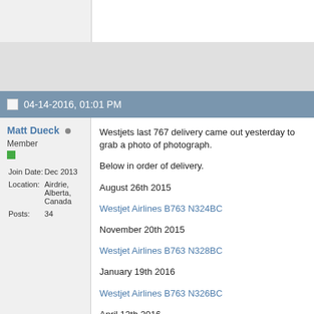04-14-2016, 01:01 PM
Matt Dueck
Member
Join Date: Dec 2013
Location: Airdrie, Alberta, Canada
Posts: 34
Westjets last 767 delivery came out yesterday to grab a photo of photograph.

Below in order of delivery.

August 26th 2015

Westjet Airlines B763 N324BC

November 20th 2015

Westjet Airlines B763 N328BC

January 19th 2016

Westjet Airlines B763 N326BC

April 12th 2016

Westjet Airlines B763 N304BC

Something you guys in NYC and out here is the Royal Air Forces